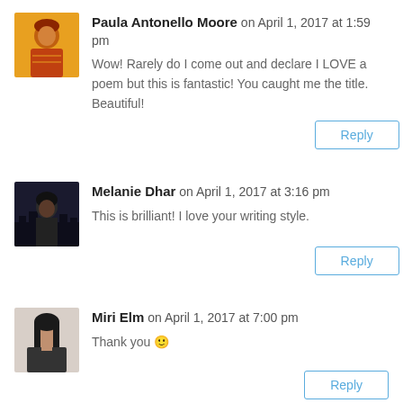[Figure (illustration): Square avatar of Paula Antonello Moore, cartoon-style illustration with warm yellow/orange/red tones]
Paula Antonello Moore on April 1, 2017 at 1:59 pm
Wow! Rarely do I come out and declare I LOVE a poem but this is fantastic! You caught me the title. Beautiful!
Reply
[Figure (photo): Square avatar photo of Melanie Dhar, dark-haired woman against a dark background]
Melanie Dhar on April 1, 2017 at 3:16 pm
This is brilliant! I love your writing style.
Reply
[Figure (photo): Square avatar photo of Miri Elm, dark-haired woman against a light background]
Miri Elm on April 1, 2017 at 7:00 pm
Thank you 🙂
Reply